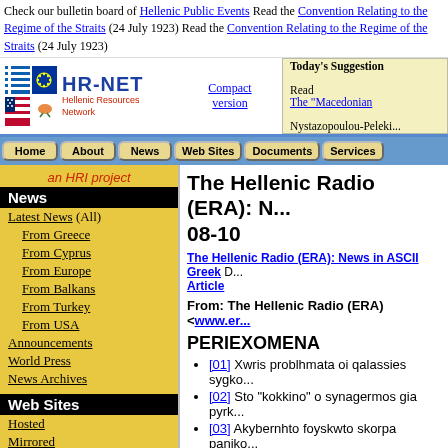Check our bulletin board of Hellenic Public Events Read the Convention Relating to the Regime of the Straits (24 July 1923) Read the Convention Relating to the Regime of the Straits (24 July 1923)
[Figure (logo): HR-NET Hellenic Resources Network logo with Greek, EU, US, and Cyprus flags]
Today's Suggestion Read The "Macedonian" Nystazopoulou-Peleki...
[Figure (screenshot): Navigation bar with Home, About, News, Web Sites, Documents, Services buttons]
an HRI project
News
Latest News (All)
From Greece
From Cyprus
From Europe
From Balkans
From Turkey
From USA
Announcements
World Press
News Archives
Web Sites
Hosted
Mirrored
The Hellenic Radio (ERA): N... 08-10
The Hellenic Radio (ERA): News in ASCII Greek D... Article
From: The Hellenic Radio (ERA) <www.er...
PERIEXOMENA
[01] Xwris problhmata oi qalassies sygko...
[02] Sto "kokkino" o synagermos gia pyrk...
[03] Akybernhto foyskwto skorpa paniko...
[04] Telos kalo gia toys oreihates toy Lo...